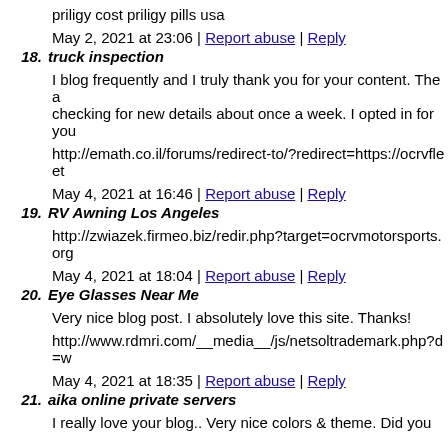priligy cost priligy pills usa
May 2, 2021 at 23:06 | Report abuse | Reply
18. truck inspection
I blog frequently and I truly thank you for your content. The article has really peaked my interest. I am going to book mark your blog and keep checking for new details about once a week. I opted in for you
http://emath.co.il/forums/redirect-to/?redirect=https://ocrvfleet
May 4, 2021 at 16:46 | Report abuse | Reply
19. RV Awning Los Angeles
http://zwiazek.firmeo.biz/redir.php?target=ocrvmotorsports.org
May 4, 2021 at 18:04 | Report abuse | Reply
20. Eye Glasses Near Me
Very nice blog post. I absolutely love this site. Thanks!
http://www.rdmri.com/__media__/js/netsoltrademark.php?d=w
May 4, 2021 at 18:35 | Report abuse | Reply
21. aika online private servers
I really love your blog.. Very nice colors & theme. Did you